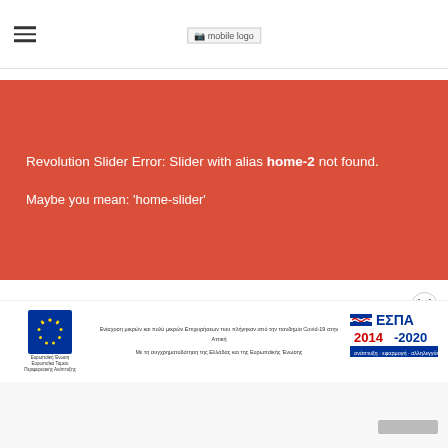[Figure (logo): Mobile website header with hamburger menu icon on left and broken image placeholder labeled 'mobile logo' in center]
Revolution Slider Error: Slider with alias home-2 not found.

Maybe you mean: 'home-slider'
[Figure (logo): ESPA 2014-2020 EU funding banner with European Union flag logo on left, Greek text about supporting small businesses affected by Covid-19 in the center, and ESPA 2014-2020 logo on right]
[Figure (other): Close / X button circle icon]